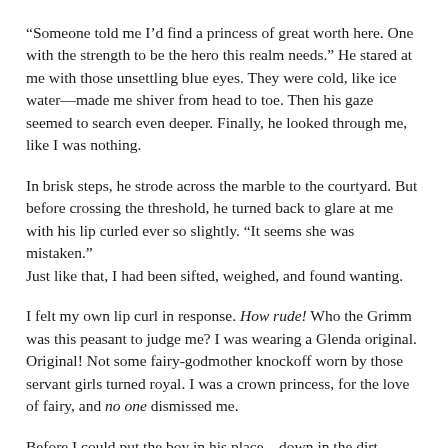“Someone told me I’d find a princess of great worth here. One with the strength to be the hero this realm needs.” He stared at me with those unsettling blue eyes. They were cold, like ice water—made me shiver from head to toe. Then his gaze seemed to search even deeper. Finally, he looked through me, like I was nothing.
In brisk steps, he strode across the marble to the courtyard. But before crossing the threshold, he turned back to glare at me with his lip curled ever so slightly. “It seems she was mistaken.”
Just like that, I had been sifted, weighed, and found wanting.
I felt my own lip curl in response. How rude! Who the Grimm was this peasant to judge me? I was wearing a Glenda original. Original! Not some fairy-godmother knockoff worn by those servant girls turned royal. I was a crown princess, for the love of fairy, and no one dismissed me.
Before I could put the boy in his place—down in the dirt, where he belonged—a clatter came from behind, making me